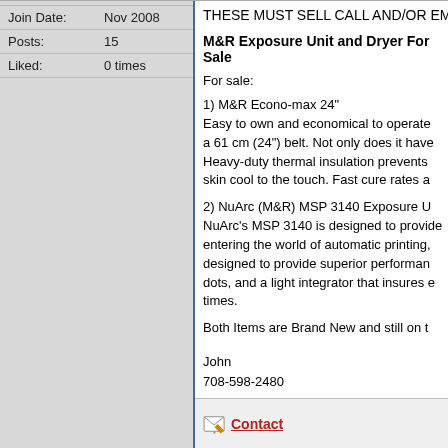| Join Date: | Nov 2008 |
| Posts: | 15 |
| Liked: | 0 times |
THESE MUST SELL CALL AND/OR EM
M&R Exposure Unit and Dryer For Sale
For sale:
1) M&R Econo-max 24"
Easy to own and economical to operate a 61 cm (24") belt. Not only does it have Heavy-duty thermal insulation prevents skin cool to the touch. Fast cure rates a
2) NuArc (M&R) MSP 3140 Exposure U
NuArc's MSP 3140 is designed to provide entering the world of automatic printing. designed to provide superior performance dots, and a light integrator that insures e times.
Both Items are Brand New and still on t
John
708-598-2480
Contact